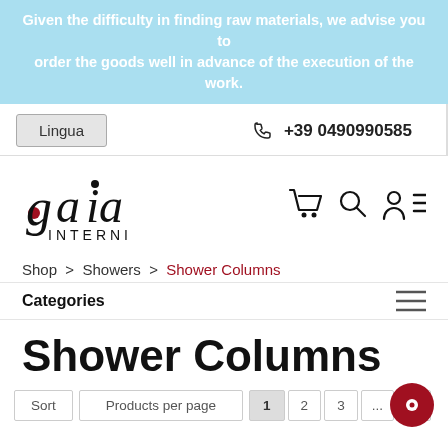Given the difficulty in finding raw materials, we advise you to order the goods well in advance of the execution of the work.
Lingua
+39 0490990585
[Figure (logo): Gaia Interni logo - stylized text with decorative letters and red dot]
[Figure (infographic): Navigation icons: shopping cart, search, user account, hamburger menu]
Shop > Showers > Shower Columns
Categories
Shower Columns
Sort   Products per page   1   2   3   ...   >